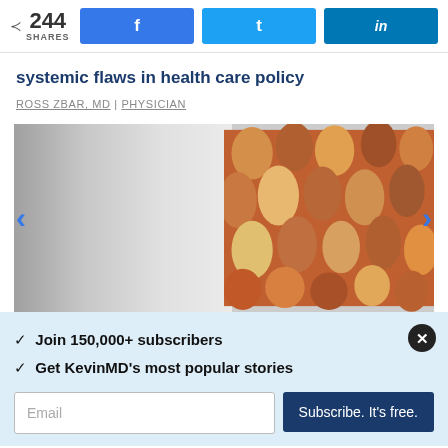244 SHARES | Facebook share | Twitter share | LinkedIn share
systemic flaws in health care policy
ROSS ZBAR, MD | PHYSICIAN
[Figure (photo): Article header image showing diverse human face profiles/silhouettes in earthy and warm tones on the right half, gray gradient on the left half. Left and right navigation arrows visible.]
✓ Join 150,000+ subscribers
✓ Get KevinMD's most popular stories
Email | Subscribe. It's free.